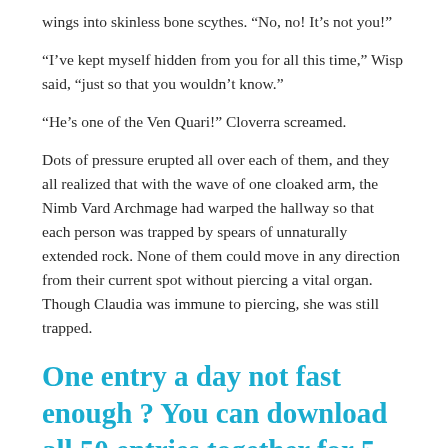wings into skinless bone scythes. “No, no! It’s not you!”
“I’ve kept myself hidden from you for all this time,” Wisp said, “just so that you wouldn’t know.”
“He’s one of the Ven Quari!” Cloverra screamed.
Dots of pressure erupted all over each of them, and they all realized that with the wave of one cloaked arm, the Nimb Vard Archmage had warped the hallway so that each person was trapped by spears of unnaturally extended rock. None of them could move in any direction from their current spot without piercing a vital organ. Though Claudia was immune to piercing, she was still trapped.
One entry a day not fast enough ? You can download all 50 entries together for 5 bucks! Just click here.